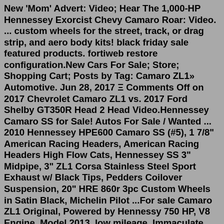New 'Mom' Advert: Video; Hear The 1,000-HP Hennessey Exorcist Chevy Camaro Roar: Video. ... custom wheels for the street, track, or drag strip, and aero body kits! black friday sale featured products. fortiweb restore configuration.New Cars For Sale; Store; Shopping Cart; Posts by Tag: Camaro ZL1» Automotive. Jun 28, 2017 Ξ Comments Off on 2017 Chevrolet Camaro ZL1 vs. 2017 Ford Shelby GT350R Head 2 Head Video.Hennessey Camaro SS for Sale! Autos For Sale / Wanted ... 2010 Hennessey HPE600 Camaro SS (#5), 1 7/8" American Racing Headers, American Racing Headers High Flow Cats, Hennessey SS 3" Midpipe, 3" ZL1 Corsa Stainless Steel Sport Exhaust w/ Black Tips, Pedders Coilover Suspension, 20" HRE 860r 3pc Custom Wheels in Satin Black, Michelin Pilot ...For sale Camaro ZL1 Original, Powered by Hennessy 750 HP, V8 Engine, Model 2013, low mileage, Immaculate condition,Full options,Sunroof. ... Camaro ZL1 Hennessey 2013. Hazmiyeh 2 months ago. Seller Description. Jetcom International. Member since Apr 2020. Chat with